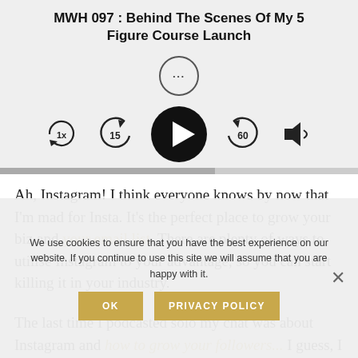[Figure (screenshot): Podcast player UI with title 'MWH 097 : Behind The Scenes Of My 5 Figure Course Launch', options button (three dots), playback controls including 1x speed, skip back 15, play button, skip forward 60, and volume icon, with a progress bar at the bottom.]
Ah, Instagram! I think everyone knows by now that I'm mad for Insta. It's the perfect place to grow your biz and your email list. There are plenty of ways to utilise Instagram to your advantage, so you can start killing it in your industry.
The last time I podcasted solo my chat was about Instagram and how to grow your followers... I guess, I just really love when it's just you, me, and
We use cookies to ensure that you have the best experience on our website. If you continue to use this site we will assume that you are happy with it.